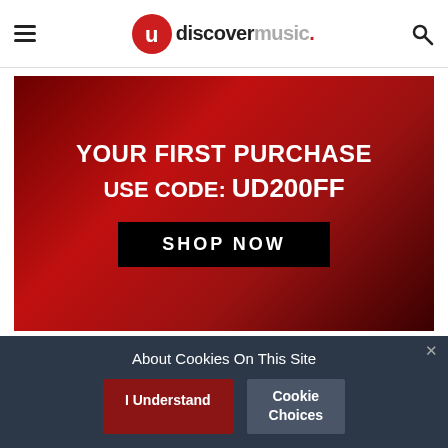uDiscoverMusic navigation header
[Figure (infographic): Advertisement banner: YOUR FIRST PURCHASE USE CODE: UD200FF SHOP NOW on red background]
[Figure (logo): uDiscoverMusic footer logo on dark background]
[Figure (infographic): Social media icons row: Facebook, Twitter, Instagram, YouTube, Spotify, and other platforms in red circles]
About Cookies On This Site
I Understand
Cookie Choices